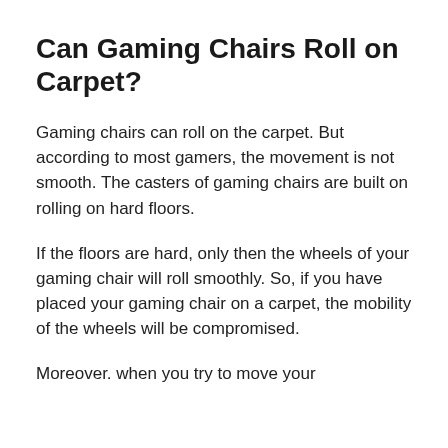Can Gaming Chairs Roll on Carpet?
Gaming chairs can roll on the carpet. But according to most gamers, the movement is not smooth. The casters of gaming chairs are built on rolling on hard floors.
If the floors are hard, only then the wheels of your gaming chair will roll smoothly. So, if you have placed your gaming chair on a carpet, the mobility of the wheels will be compromised.
Moreover. when you try to move your